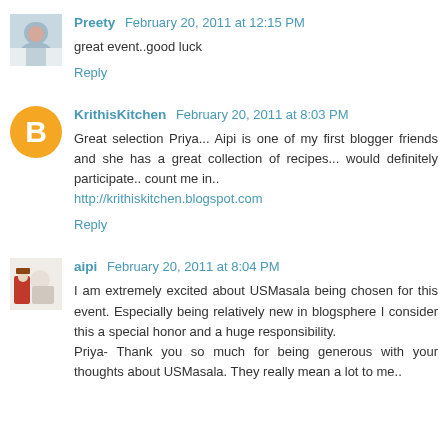Preety  February 20, 2011 at 12:15 PM
great event..good luck
Reply
KrithisKitchen  February 20, 2011 at 8:03 PM
Great selection Priya... Aipi is one of my first blogger friends and she has a great collection of recipes... would definitely participate.. count me in..
http://krithiskitchen.blogspot.com
Reply
aipi  February 20, 2011 at 8:04 PM
I am extremely excited about USMasala being chosen for this event. Especially being relatively new in blogsphere I consider this a special honor and a huge responsibility.
Priya- Thank you so much for being generous with your thoughts about USMasala. They really mean a lot to me..